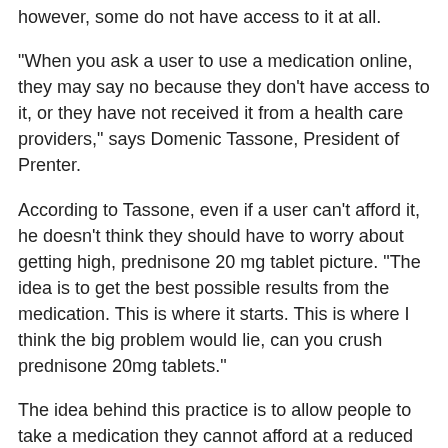however, some do not have access to it at all.
"When you ask a user to use a medication online, they may say no because they don't have access to it, or they have not received it from a health care providers," says Domenic Tassone, President of Prenter.
According to Tassone, even if a user can't afford it, he doesn't think they should have to worry about getting high, prednisone 20 mg tablet picture. "The idea is to get the best possible results from the medication. This is where it starts. This is where I think the big problem would lie, can you crush prednisone 20mg tablets."
The idea behind this practice is to allow people to take a medication they cannot afford at a reduced price, prednisone tablets 5 mg. However, at this time, it is legal in